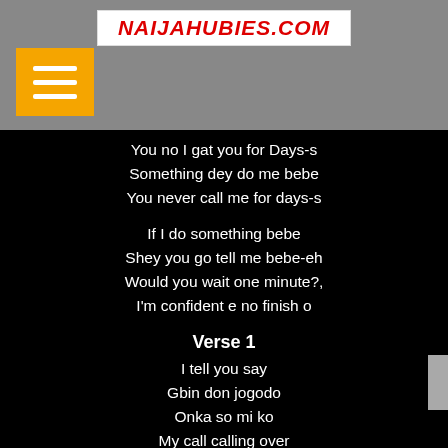NAIJAHUBIES.COM
[Figure (other): Yellow hamburger menu icon button]
You no I gat you for Days-s
Something dey do me bebe
You never call me for days-s
If I do something bebe
Shey you go tell me bebe-eh
Would you wait one minute?,
I'm confident e no finish o
Verse 1
I tell you say
Gbin don jogodo
Onka so mi ko
My call calling over
And if you run go sokoto